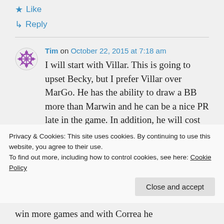★ Like
↳ Reply
Tim on October 22, 2015 at 7:18 am
I will start with Villar. This is going to upset Becky, but I prefer Villar over MarGo. He has the ability to draw a BB more than Marwin and he can be a nice PR late in the game. In addition, he will cost less and has...
Privacy & Cookies: This site uses cookies. By continuing to use this website, you agree to their use.
To find out more, including how to control cookies, see here: Cookie Policy
Close and accept
win more games and with Correa he